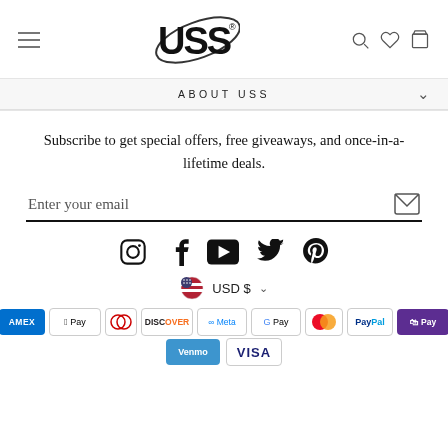[Figure (logo): USS brand logo with orbital ring around text]
ABOUT USS
Subscribe to get special offers, free giveaways, and once-in-a-lifetime deals.
Enter your email
[Figure (infographic): Social media icons: Instagram, Facebook, YouTube, Twitter, Pinterest]
USD $
[Figure (infographic): Payment method logos: American Express, Apple Pay, Diners Club, Discover, Meta Pay, Google Pay, Mastercard, PayPal, Shop Pay, Venmo, Visa]